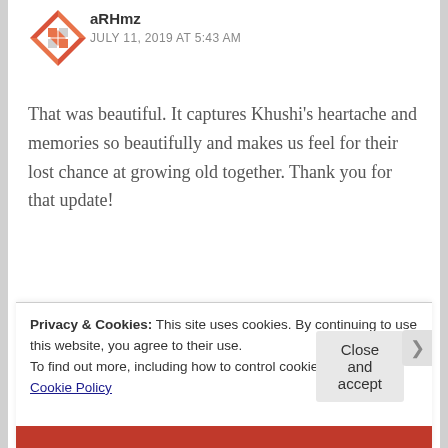[Figure (illustration): Decorative avatar icon with orange/red geometric quilt-like pattern]
aRHmz
JULY 11, 2019 AT 5:43 AM
That was beautiful. It captures Khushi's heartache and memories so beautifully and makes us feel for their lost chance at growing old together. Thank you for that update!
★ Liked by 2 people
Reply
Privacy & Cookies: This site uses cookies. By continuing to use this website, you agree to their use.
To find out more, including how to control cookies, see here: Cookie Policy
Close and accept